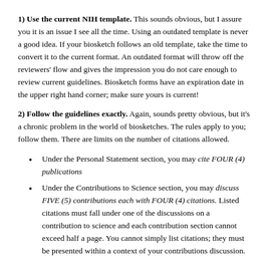1) Use the current NIH template. This sounds obvious, but I assure you it is an issue I see all the time. Using an outdated template is never a good idea. If your biosketch follows an old template, take the time to convert it to the current format. An outdated format will throw off the reviewers' flow and gives the impression you do not care enough to review current guidelines. Biosketch forms have an expiration date in the upper right hand corner; make sure yours is current!
2) Follow the guidelines exactly. Again, sounds pretty obvious, but it's a chronic problem in the world of biosketches. The rules apply to you; follow them. There are limits on the number of citations allowed.
Under the Personal Statement section, you may cite FOUR (4) publications
Under the Contributions to Science section, you may discuss FIVE (5) contributions each with FOUR (4) citations. Listed citations must fall under one of the discussions on a contribution to science and each contribution section cannot exceed half a page. You cannot simply list citations; they must be presented within a context of your contributions discussion.